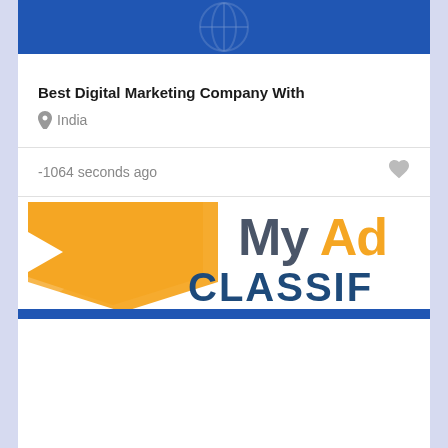[Figure (screenshot): Blue banner with globe icon and partial text at top of listing card]
Best Digital Marketing Company With
India
-1064 seconds ago
[Figure (logo): MyAd Classifieds logo with orange star/bookmark icon and text 'My Ad' in dark blue/grey and 'CLASSIF' in dark blue, partially cropped]